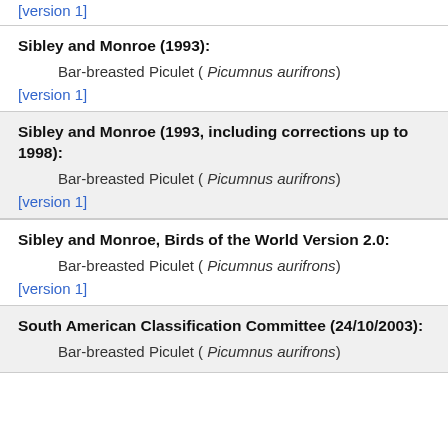[version 1]
Sibley and Monroe (1993):
Bar-breasted Piculet ( Picumnus aurifrons)
[version 1]
Sibley and Monroe (1993, including corrections up to 1998):
Bar-breasted Piculet ( Picumnus aurifrons)
[version 1]
Sibley and Monroe, Birds of the World Version 2.0:
Bar-breasted Piculet ( Picumnus aurifrons)
[version 1]
South American Classification Committee (24/10/2003):
Bar-breasted Piculet ( Picumnus aurifrons)